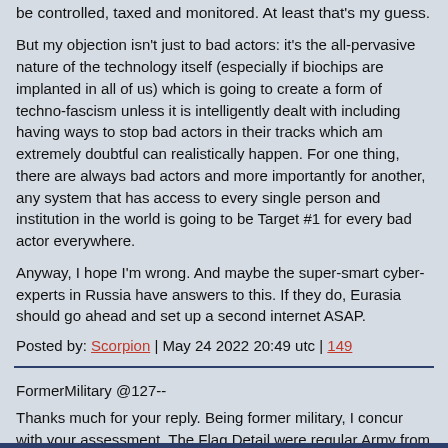be controlled, taxed and monitored. At least that's my guess.
But my objection isn't just to bad actors: it's the all-pervasive nature of the technology itself (especially if biochips are implanted in all of us) which is going to create a form of techno-fascism unless it is intelligently dealt with including having ways to stop bad actors in their tracks which am extremely doubtful can realistically happen. For one thing, there are always bad actors and more importantly for another, any system that has access to every single person and institution in the world is going to be Target #1 for every bad actor everywhere.
Anyway, I hope I'm wrong. And maybe the super-smart cyber-experts in Russia have answers to this. If they do, Eurasia should go ahead and set up a second internet ASAP.
Posted by: Scorpion | May 24 2022 20:49 utc | 149
FormerMilitary @127--
Thanks much for your reply. Being former military, I concur with your assessment. The Flag Detail were regular Army from Fort Benning, a Spc-4 and PFC.
Posted by: karlof1 | May 24 2022 20:52 utc | 150